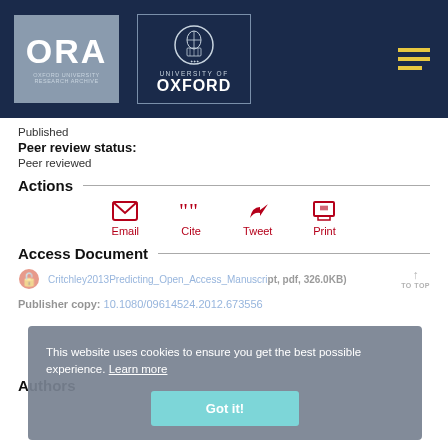[Figure (logo): ORA Oxford University Research Archive logo and University of Oxford crest logo on dark navy header bar with hamburger menu icon]
Published
Peer review status:
Peer reviewed
Actions
Email  Cite  Tweet  Print
Access Document
File: Critchley2013Predicting_Open_Access_Manuscript, pdf, 326.0KB
Publisher copy: 10.1080/09614524.2012.673556
This website uses cookies to ensure you get the best possible experience. Learn more
Got it!
Authors